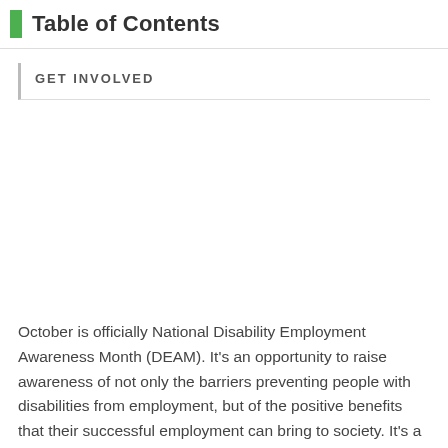Table of Contents
GET INVOLVED
October is officially National Disability Employment Awareness Month (DEAM). It's an opportunity to raise awareness of not only the barriers preventing people with disabilities from employment, but of the positive benefits that their successful employment can bring to society. It's a celebration of why supporting people with disabilities gain meaningful employment is great for all of us! As the